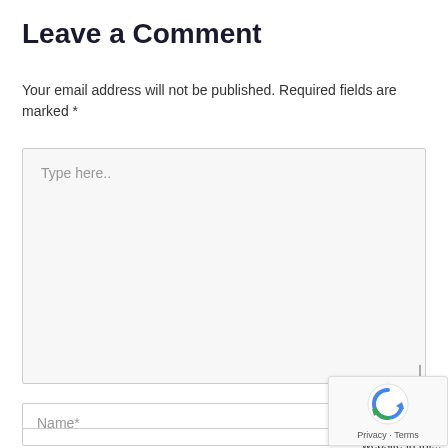Leave a Comment
Your email address will not be published. Required fields are marked *
[Figure (screenshot): Large text area input box with placeholder text 'Type here..' and a resize handle in the bottom right corner]
[Figure (screenshot): Name* text input field]
Save my name, email, and website in this...
[Figure (screenshot): Email input field (partially visible)]
[Figure (other): reCAPTCHA widget overlay showing spinning logo and Privacy - Terms footer]